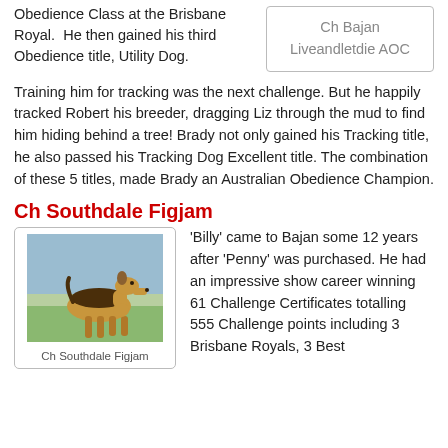Obedience Class at the Brisbane Royal.  He then gained his third Obedience title, Utility Dog.
Ch Bajan Liveandletdie AOC
Training him for tracking was the next challenge. But he happily tracked Robert his breeder, dragging Liz through the mud to find him hiding behind a tree! Brady not only gained his Tracking title, he also passed his Tracking Dog Excellent title. The combination of these 5 titles, made Brady an Australian Obedience Champion.
Ch Southdale Figjam
[Figure (photo): A side profile photo of Ch Southdale Figjam, an Airedale Terrier, standing on grass]
Ch Southdale Figjam
'Billy' came to Bajan some 12 years after 'Penny' was purchased. He had an impressive show career winning 61 Challenge Certificates totalling 555 Challenge points including 3 Brisbane Royals, 3 Best